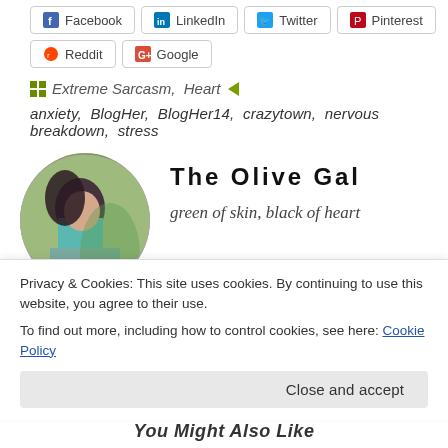[Figure (other): Social sharing buttons row 1: Facebook, LinkedIn, Twitter, Pinterest]
[Figure (other): Social sharing buttons row 2: Reddit, Google+]
Extreme Sarcasm, Heart
anxiety, BlogHer, BlogHer14, crazytown, nervous breakdown, stress
[Figure (photo): Circular author photo of a woman with dark hair wearing a teal dress, sitting outdoors]
The Olive Gal
green of skin, black of heart
Privacy & Cookies: This site uses cookies. By continuing to use this website, you agree to their use.
To find out more, including how to control cookies, see here: Cookie Policy
Close and accept
You Might Also Like